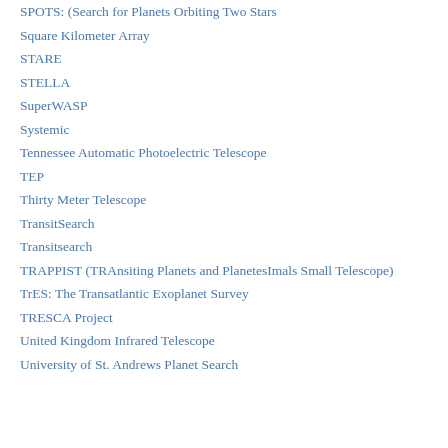SPOTS: (Search for Planets Orbiting Two Stars
Square Kilometer Array
STARE
STELLA
SuperWASP
Systemic
Tennessee Automatic Photoelectric Telescope
TEP
Thirty Meter Telescope
TransitSearch
Transitsearch
TRAPPIST (TRAnsiting Planets and PlanetesImals Small Telescope)
TrES: The Transatlantic Exoplanet Survey
TRESCA Project
United Kingdom Infrared Telescope
University of St. Andrews Planet Search